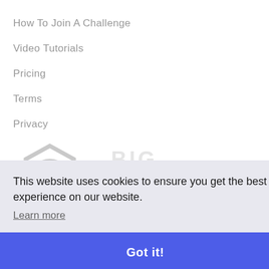How To Join A Challenge
Video Tutorials
Pricing
Terms
Privacy
[Figure (logo): Big Challenge logo with circular icon and text BIG CHALLENGE]
This website uses cookies to ensure you get the best experience on our website. Learn more
Got it!
Copyright 2022 · Team Challenge · contact@...